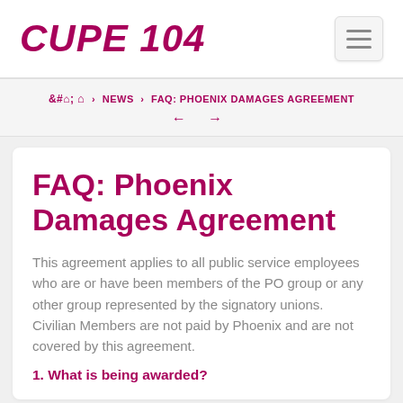CUPE 104
🏠 › NEWS › FAQ: PHOENIX DAMAGES AGREEMENT ← →
FAQ: Phoenix Damages Agreement
This agreement applies to all public service employees who are or have been members of the PO group or any other group represented by the signatory unions. Civilian Members are not paid by Phoenix and are not covered by this agreement.
1. What is being awarded?